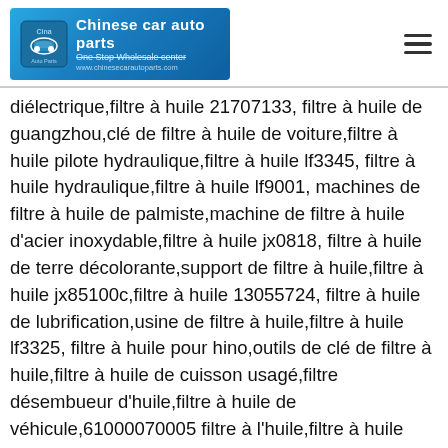[Figure (logo): Chinese car auto parts logo with blue background, car icon, and text 'Chinese car auto parts / One Stop Wholesale center']
diélectrique,filtre à huile 21707133, filtre à huile de guangzhou,clé de filtre à huile de voiture,filtre à huile pilote hydraulique,filtre à huile lf3345, filtre à huile hydraulique,filtre à huile lf9001, machines de filtre à huile de palmiste,machine de filtre à huile d'acier inoxydable,filtre à huile jx0818, filtre à huile de terre décolorante,support de filtre à huile,filtre à huile jx85100c,filtre à huile 13055724, filtre à huile de lubrification,usine de filtre à huile,filtre à huile lf3325, filtre à huile pour hino,outils de clé de filtre à huile,filtre à huile de cuisson usagé,filtre désembueur d'huile,filtre à huile de véhicule,61000070005 filtre à l'huile,filtre à huile york,filtre à mazout,corps de filtre à huile,filtre à huile de réfrigérateur,courroie de clé de filtre à huile,filtre à huile vg61000070005, filtre à huile chery,filtre collecteur de brouillard d'huile,filtre à huile corolle,filtre à huile 39911631,